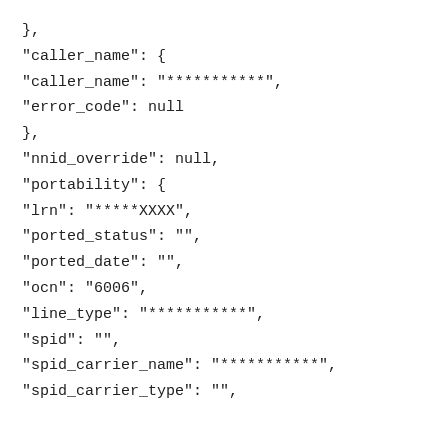},
"caller_name": {
"caller_name": "***********",
"error_code": null
},
"nnid_override": null,
"portability": {
"lrn": "*****XXXX",
"ported_status": "",
"ported_date": "",
"ocn": "6006",
"line_type": "***********",
"spid": "",
"spid_carrier_name": "***********",
"spid_carrier_type": "",